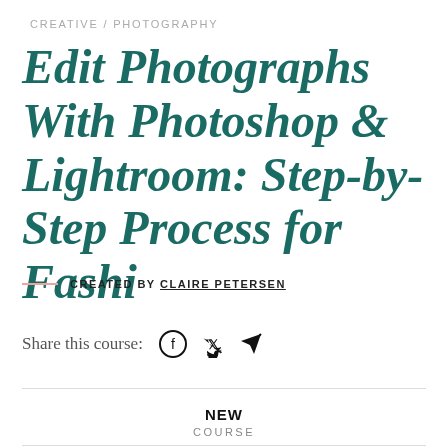CREATIVE / PHOTOGRAPHY
Edit Photographs With Photoshop & Lightroom: Step-by-Step Process for Fashi
CREATED BY CLAIRE PETERSEN
Share this course:
NEW
COURSE